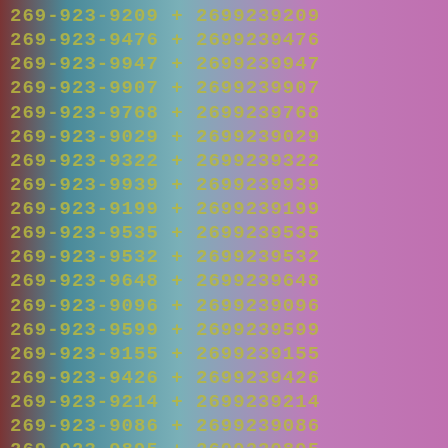269-923-9209 + 2699239209
269-923-9476 + 2699239476
269-923-9947 + 2699239947
269-923-9907 + 2699239907
269-923-9768 + 2699239768
269-923-9029 + 2699239029
269-923-9322 + 2699239322
269-923-9939 + 2699239939
269-923-9199 + 2699239199
269-923-9535 + 2699239535
269-923-9532 + 2699239532
269-923-9648 + 2699239648
269-923-9096 + 2699239096
269-923-9599 + 2699239599
269-923-9155 + 2699239155
269-923-9426 + 2699239426
269-923-9214 + 2699239214
269-923-9086 + 2699239086
269-923-9895 + 2699239895
269-923-9862 + 2699239862
269-923-9773 + 2699239773
269-923-9439 + 2699239439
269-923-9799 + 2699239799